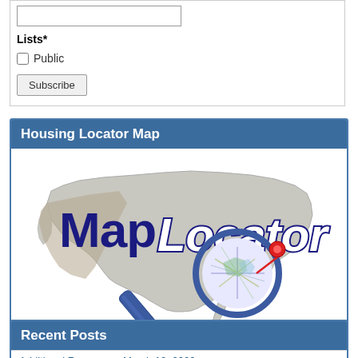Lists*
Public (checkbox)
Subscribe (button)
Housing Locator Map
[Figure (logo): MapLocator logo showing a stylized map of the United States with a magnifying glass overlay and a red pin marker, with bold blue text reading 'Map' and italic white text reading 'Locator']
Recent Posts
Additional Resources: March 10, 2020